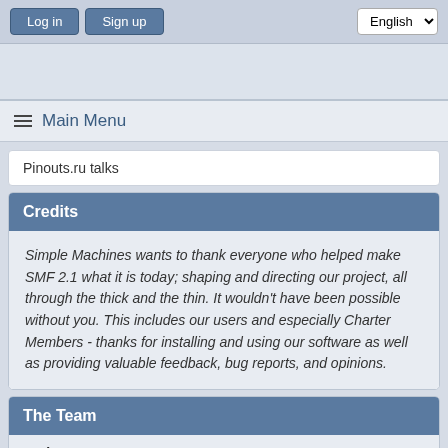Log in  Sign up  English
≡ Main Menu
Pinouts.ru talks
Credits
Simple Machines wants to thank everyone who helped make SMF 2.1 what it is today; shaping and directing our project, all through the thick and the thin. It wouldn't have been possible without you. This includes our users and especially Charter Members - thanks for installing and using our software as well as providing valuable feedback, bug reports, and opinions.
The Team
Project Management
Aleksi "Lex" Kilpinen, Michele "Illori" Davis, Jessica "Suki"